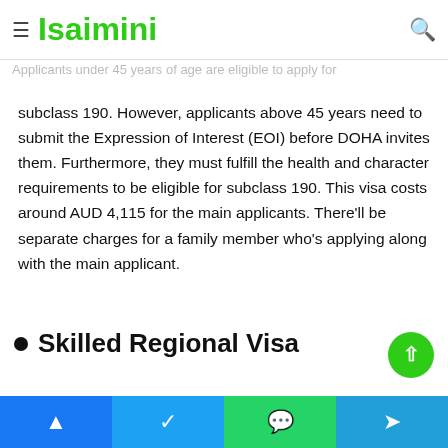Skilled Nominated Visa (subclass 190)
Applicants under 45 years of age are eligible to apply for
Isaimini
subclass 190. However, applicants above 45 years need to submit the Expression of Interest (EOI) before DOHA invites them. Furthermore, they must fulfill the health and character requirements to be eligible for subclass 190. This visa costs around AUD 4,115 for the main applicants. There'll be separate charges for a family member who's applying along with the main applicant.
Skilled Regional Visa
The Skilled Regional Visa (subclass 491) is a temporary visa. It is offered to skilled employees from all over the world who want to work in regional Australia. If you're a skilled worker